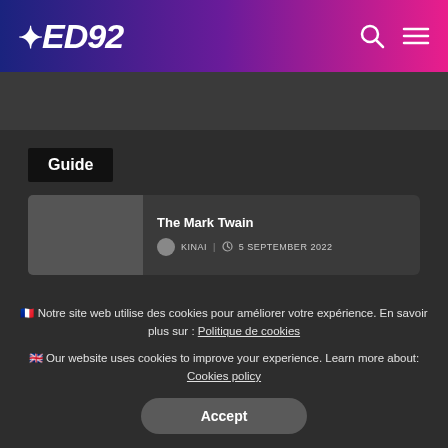AED92
Guide
The Mark Twain
KINAI | 5 SEPTEMBER 2022
Disney Sequoia Lodge – Behind the scene
🇫🇷 Notre site web utilise des cookies pour améliorer votre expérience. En savoir plus sur : Politique de cookies
🇬🇧 Our website uses cookies to improve your experience. Learn more about: Cookies policy
Accept